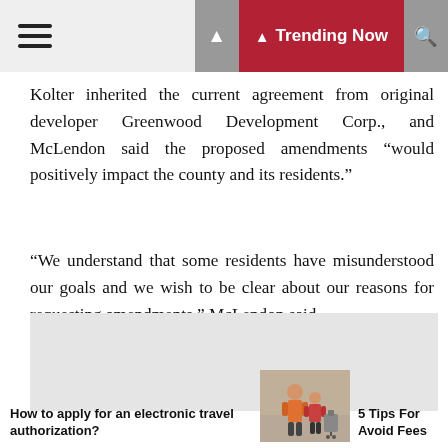Trending Now
Kolter inherited the current agreement from original developer Greenwood Development Corp., and McLendon said the proposed amendments “would positively impact the county and its residents.”
“We understand that some residents have misunderstood our goals and we wish to be clear about our reasons for requesting amendments,” McLendon said.
[Figure (other): Gray advertisement placeholder box]
How to apply for an electronic travel authorization?
[Figure (photo): People at an airport with luggage]
5 Tips For Avoid Fees